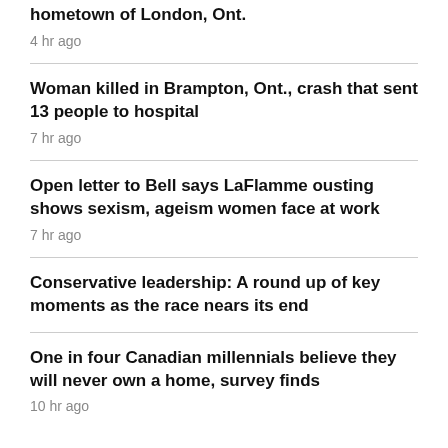hometown of London, Ont.
4 hr ago
Woman killed in Brampton, Ont., crash that sent 13 people to hospital
7 hr ago
Open letter to Bell says LaFlamme ousting shows sexism, ageism women face at work
7 hr ago
Conservative leadership: A round up of key moments as the race nears its end
One in four Canadian millennials believe they will never own a home, survey finds
10 hr ago